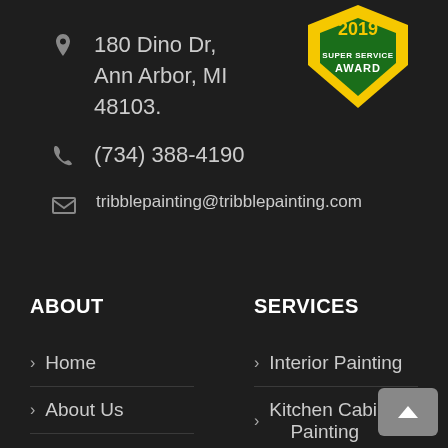[Figure (logo): Angie's List Super Service Award badge in gold and green shield shape]
180 Dino Dr, Ann Arbor, MI 48103.
(734) 388-4190
tribblepainting@tribblepainting.com
ABOUT
SERVICES
> Home
> Interior Painting
> About Us
> Kitchen Cabinet Painting
> Service Areas